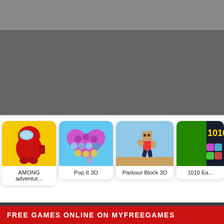[Figure (screenshot): Dark gray banner area at top of webpage, partially cropped]
[Figure (screenshot): Row of game thumbnails: AMONG adventur..., Pop It 3D, Parkour Block 3D, 1010 Ea...]
AMONG adventur...
Pop It 3D
Parkour Block 3D
1010 Ea...
FREE GAMES ONLINE ON MYFREEGAMES